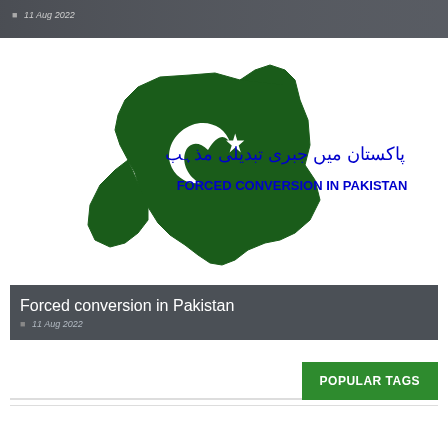[Figure (screenshot): Top dark gray image strip with date '11 Aug 2022' visible]
[Figure (illustration): Forced Conversion in Pakistan article card with Pakistan map illustration in dark green showing crescent and star, Urdu text in blue, bold blue English text 'FORCED CONVERSION IN PAKISTAN', overlaid with dark title bar showing 'Forced conversion in Pakistan' and date '11 Aug 2022']
Forced conversion in Pakistan
11 Aug 2022
POPULAR TAGS